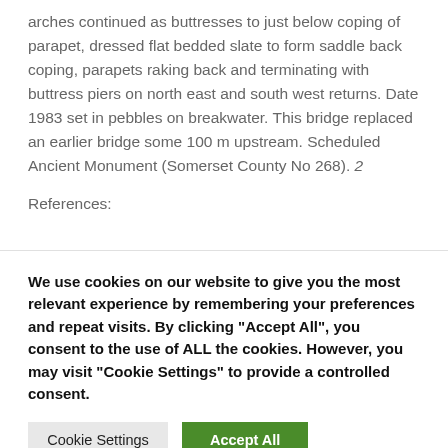arches continued as buttresses to just below coping of parapet, dressed flat bedded slate to form saddle back coping, parapets raking back and terminating with buttress piers on north east and south west returns. Date 1983 set in pebbles on breakwater. This bridge replaced an earlier bridge some 100 m upstream. Scheduled Ancient Monument (Somerset County No 268). 2
References:
We use cookies on our website to give you the most relevant experience by remembering your preferences and repeat visits. By clicking "Accept All", you consent to the use of ALL the cookies. However, you may visit "Cookie Settings" to provide a controlled consent.